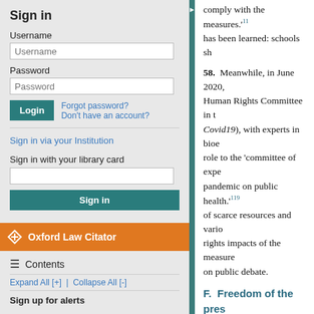Sign in
Username
Password
Forgot password? Don't have an account?
Sign in via your Institution
Sign in with your library card
Oxford Law Citator
Contents
Expand All [+] | Collapse All [-]
Sign up for alerts
comply with the measures.'11 has been learned: schools sh
58. Meanwhile, in June 2020, Human Rights Committee in t Covid19), with experts in bioe role to the 'committee of expe pandemic on public health.'119 of scarce resources and vario rights impacts of the measure on public debate.
F. Freedom of the pres
59. While the work of journali authorities have not impleme freedom of press (Article 14 o press is explicitly exempted fr quite broadly, including every 'essential workers' exempt fro was appropriate, for instance, sentiment was voiced in the m difficulties of differentiating be